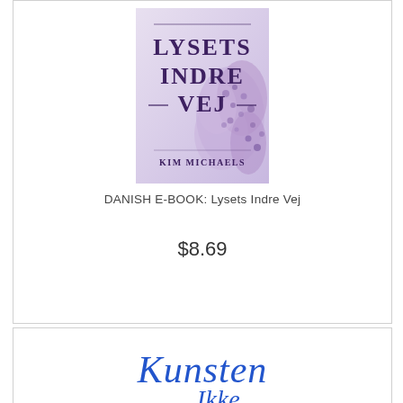[Figure (illustration): Book cover of 'Lysets Indre Vej' by Kim Michaels. Light purple/lavender background with flowers. Title in dark purple serif font with decorative dashes around 'Vej'.]
DANISH E-BOOK: Lysets Indre Vej
$8.69
[Figure (logo): Blue calligraphic/script logo text reading 'Kunsten' and below it 'Ikke' in italic script style]